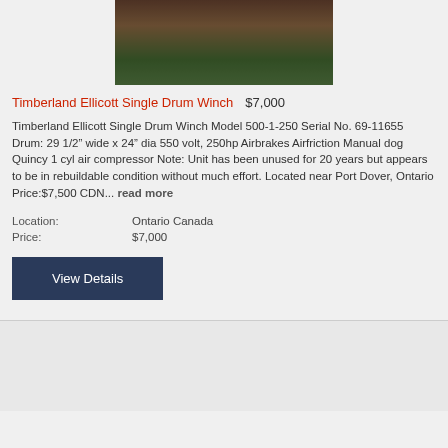[Figure (photo): Photograph of a Timberland Ellicott Single Drum Winch, showing rusty industrial machinery outdoors on grass]
Timberland Ellicott Single Drum Winch   $7,000
Timberland Ellicott Single Drum Winch Model 500-1-250 Serial No. 69-11655 Drum: 29 1/2" wide x 24" dia 550 volt, 250hp Airbrakes Airfriction Manual dog Quincy 1 cyl air compressor Note: Unit has been unused for 20 years but appears to be in rebuildable condition without much effort. Located near Port Dover, Ontario Price:$7,500 CDN... read more
| Location: | Ontario Canada |
| Price: | $7,000 |
View Details